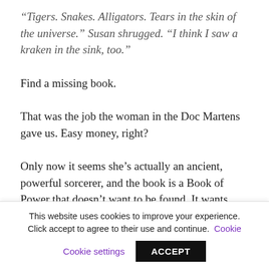“Tigers. Snakes. Alligators. Tears in the skin of the universe.” Susan shrugged. “I think I saw a kraken in the sink, too.”
Find a missing book.
That was the job the woman in the Doc Martens gave us. Easy money, right?
Only now it seems she’s actually an ancient, powerful sorcerer, and the book is a Book of Power that doesn’t want to be found. It wants
This website uses cookies to improve your experience. Click accept to agree to their use and continue. Cookie settings ACCEPT